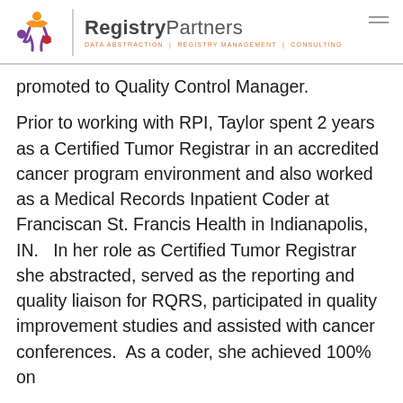RegistryPartners | DATA ABSTRACTION | REGISTRY MANAGEMENT | CONSULTING
promoted to Quality Control Manager.
Prior to working with RPI, Taylor spent 2 years as a Certified Tumor Registrar in an accredited cancer program environment and also worked as a Medical Records Inpatient Coder at Franciscan St. Francis Health in Indianapolis, IN.   In her role as Certified Tumor Registrar she abstracted, served as the reporting and quality liaison for RQRS, participated in quality improvement studies and assisted with cancer conferences.  As a coder, she achieved 100% on